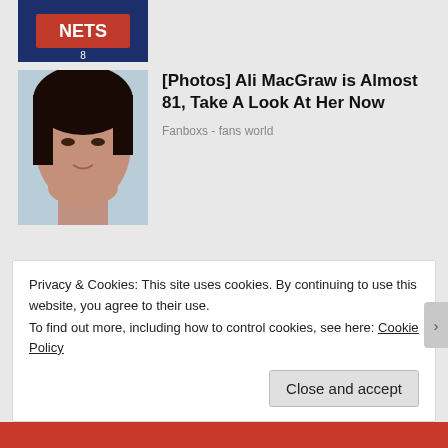[Figure (photo): Basketball player in Brooklyn Nets jersey, partial image at top]
[Figure (photo): Close-up portrait of a woman's face (Ali MacGraw article thumbnail)]
[Photos] Ali MacGraw is Almost 81, Take A Look At Her Now
Fanboxs - fans world
RATE THIS: ★★★☆☆ ℹ 1 Vote
SHARE THIS:
Privacy & Cookies: This site uses cookies. By continuing to use this website, you agree to their use.
To find out more, including how to control cookies, see here: Cookie Policy
Close and accept